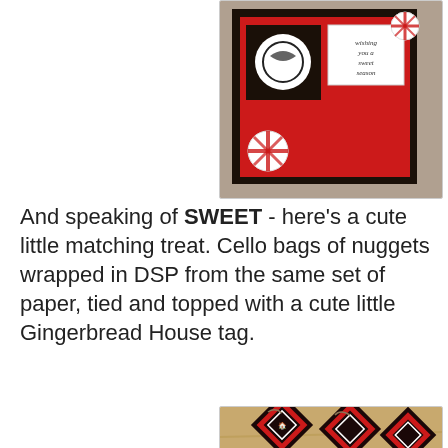[Figure (photo): Photo of red and black Christmas card with peppermint candy decorations and 'wishing you a sweet season' text on white panel]
And speaking of SWEET - here's a cute little matching treat.  Cello bags of nuggets wrapped in DSP from the same set of paper, tied and topped with a cute little Gingerbread House tag.
[Figure (photo): Photo of multiple cello bags of nuggets wrapped in red striped paper, each topped with a red and black diamond-shaped Gingerbread House tag tied with twine, spread out on a wooden surface]